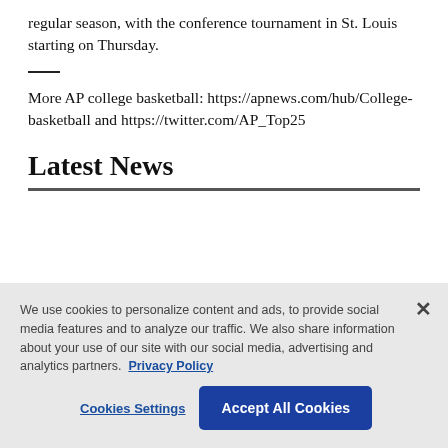regular season, with the conference tournament in St. Louis starting on Thursday.
More AP college basketball: https://apnews.com/hub/College-basketball and https://twitter.com/AP_Top25
Latest News
We use cookies to personalize content and ads, to provide social media features and to analyze our traffic. We also share information about your use of our site with our social media, advertising and analytics partners. Privacy Policy
Cookies Settings
Accept All Cookies